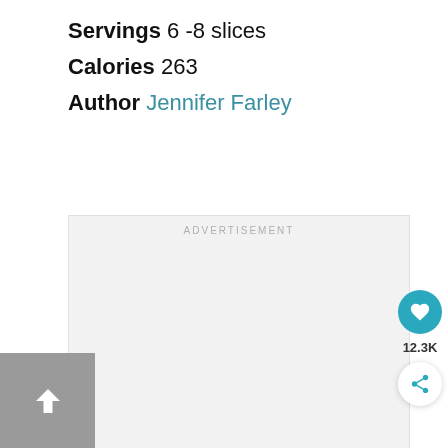Servings  6 -8 slices
Calories  263
Author  Jennifer Farley
[Figure (other): Advertisement placeholder box with 'ADVERTISEMENT' label in light gray text on a light gray background]
12.3K